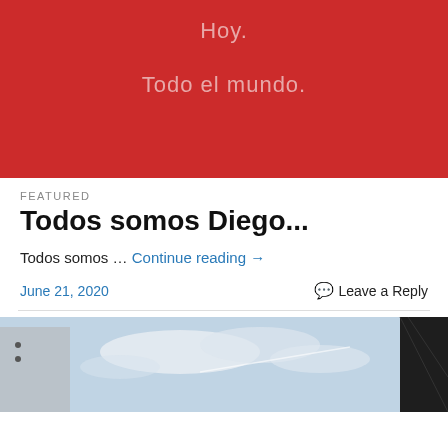[Figure (illustration): Red banner with light pink/rose text reading 'Hoy.' and 'Todo el mundo.' on a dark red background]
FEATURED
Todos somos Diego...
Todos somos … Continue reading →
June 21, 2020      Leave a Reply
[Figure (photo): Partial view of a building structure against a blue sky with clouds, and a dark metal structure on the right]